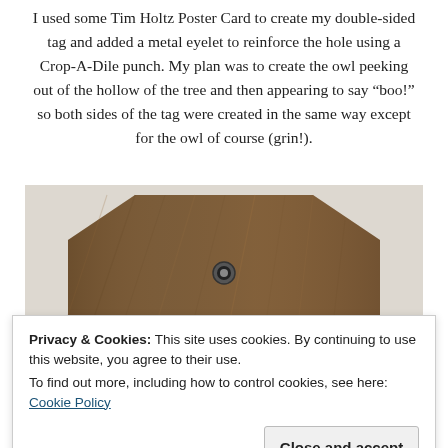I used some Tim Holtz Poster Card to create my double-sided tag and added a metal eyelet to reinforce the hole using a Crop-A-Dile punch. My plan was to create the owl peeking out of the hollow of the tree and then appearing to say “boo!” so both sides of the tag were created in the same way except for the owl of course (grin!).
[Figure (photo): A wooden tag with octagonal top corners, wood-grain texture, and a small metal eyelet hole near the top center. Background is light gray/white.]
Privacy & Cookies: This site uses cookies. By continuing to use this website, you agree to their use.
To find out more, including how to control cookies, see here: Cookie Policy
Close and accept